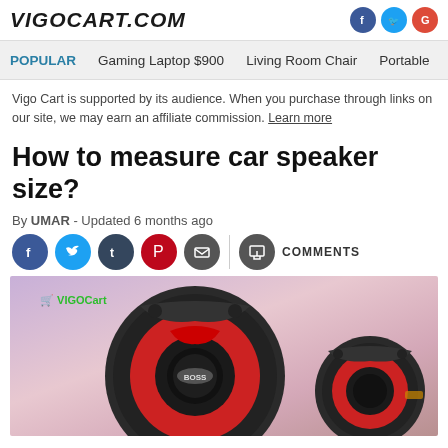VIGOCART.COM
POPULAR   Gaming Laptop $900   Living Room Chair   Portable
Vigo Cart is supported by its audience. When you purchase through links on our site, we may earn an affiliate commission. Learn more
How to measure car speaker size?
By UMAR - Updated 6 months ago
[Figure (photo): Car speaker image with VIGOCart watermark logo. Two car speakers shown, one large front-facing black speaker with red accents (BOSS brand), one smaller speaker visible to the right. Background shows a road/sky scene with purple and pink tones.]